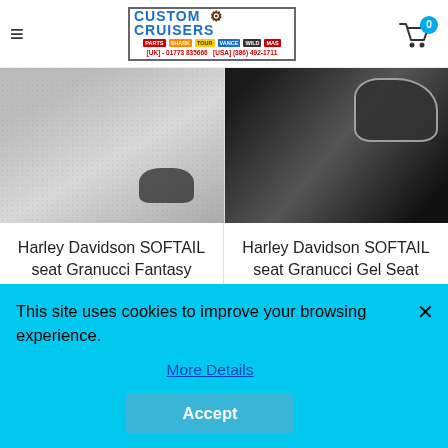Custom Cruisers — [UK] - 01773 835666 [USA] (386) 492-1711
[Figure (photo): Harley Davidson seat product photo left — grey textured surface with dark seat shadow]
Harley Davidson SOFTAIL seat Granucci Fantasy Python Pillion Pad Harley Davidson
[Figure (photo): Harley Davidson seat product photo right — dark black seat on white background]
Harley Davidson SOFTAIL seat Granucci Gel Seat Fantasy Solo Seat Harley Davidson
This site uses cookies to improve your browsing experience.
More Details
Accept